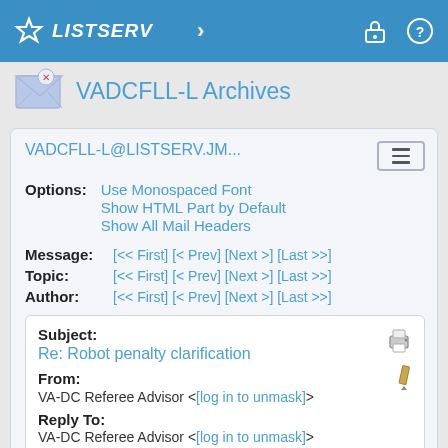LISTSERV
VADCFLL-L Archives
VADCFLL-L@LISTSERV.JM...
Options: Use Monospaced Font | Show HTML Part by Default | Show All Mail Headers
Message: [<< First] [< Prev] [Next >] [Last >>]
Topic: [<< First] [< Prev] [Next >] [Last >>]
Author: [<< First] [< Prev] [Next >] [Last >>]
Subject: Re: Robot penalty clarification
From: VA-DC Referee Advisor <[log in to unmask]>
Reply To: VA-DC Referee Advisor <[log in to unmask]>